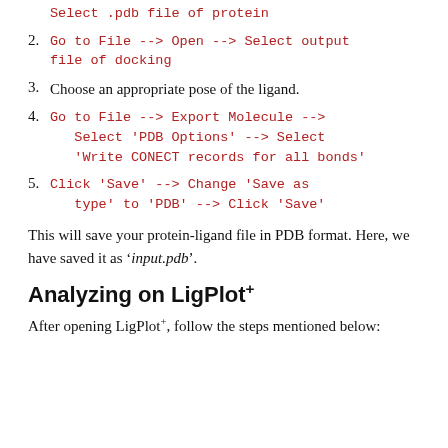Select .pdb file of protein
2. Go to File --> Open --> Select output file of docking
3. Choose an appropriate pose of the ligand.
4. Go to File --> Export Molecule --> Select 'PDB Options' --> Select 'Write CONECT records for all bonds'
5. Click 'Save' --> Change 'Save as type' to 'PDB' --> Click 'Save'
This will save your protein-ligand file in PDB format. Here, we have saved it as 'input.pdb'.
Analyzing on LigPlot+
After opening LigPlot+, follow the steps mentioned below: